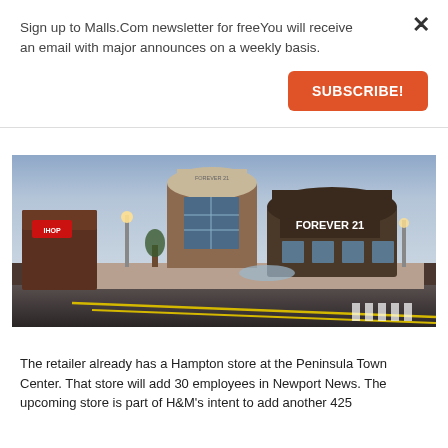Sign up to Malls.Com newsletter for freeYou will receive an email with major announces on a weekly basis.
SUBSCRIBE!
[Figure (photo): Exterior photo of a shopping mall at dusk showing a Forever 21 store with brick facade and large glass windows, street lamps illuminated, parking lot in foreground with yellow road markings.]
The retailer already has a Hampton store at the Peninsula Town Center. That store will add 30 employees in Newport News. The upcoming store is part of H&M's intent to add another 425